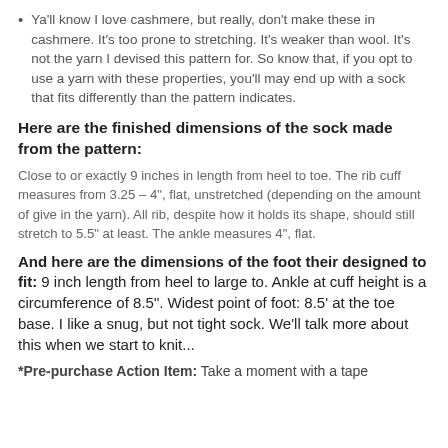Ya'll know I love cashmere, but really, don't make these in cashmere. It's too prone to stretching. It's weaker than wool. It's not the yarn I devised this pattern for. So know that, if you opt to use a yarn with these properties, you'll may end up with a sock that fits differently than the pattern indicates.
Here are the finished dimensions of the sock made from the pattern:
Close to or exactly 9 inches in length from heel to toe. The rib cuff measures from 3.25 – 4", flat, unstretched (depending on the amount of give in the yarn). All rib, despite how it holds its shape, should still stretch to 5.5" at least. The ankle measures 4", flat.
And here are the dimensions of the foot their designed to fit: 9 inch length from heel to large to. Ankle at cuff height is a circumference of 8.5". Widest point of foot: 8.5' at the toe base. I like a snug, but not tight sock. We'll talk more about this when we start to knit...
*Pre-purchase Action Item: Take a moment with a tape